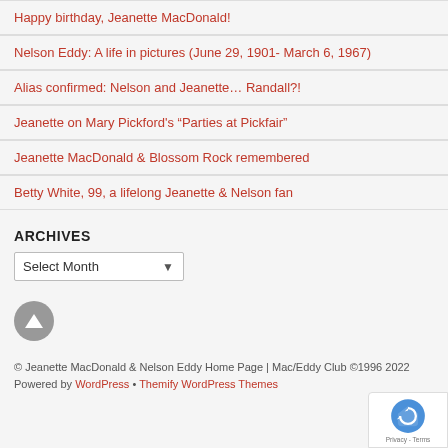Happy birthday, Jeanette MacDonald!
Nelson Eddy: A life in pictures (June 29, 1901- March 6, 1967)
Alias confirmed: Nelson and Jeanette… Randall?!
Jeanette on Mary Pickford's “Parties at Pickfair”
Jeanette MacDonald & Blossom Rock remembered
Betty White, 99, a lifelong Jeanette & Nelson fan
ARCHIVES
Select Month (dropdown)
[Figure (other): Up arrow button (scroll to top), circular grey icon]
© Jeanette MacDonald & Nelson Eddy Home Page | Mac/Eddy Club ©1996 2022
Powered by WordPress • Themify WordPress Themes